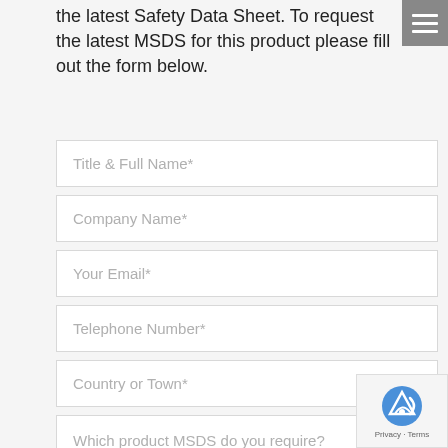the latest Safety Data Sheet. To request the latest MSDS for this product please fill out the form below.
[Figure (screenshot): Web form with input fields: Title & Full Name*, Company Name*, Your Email*, Telephone Number*, Country or Town*, and a textarea for Which product MSDS do you require?]